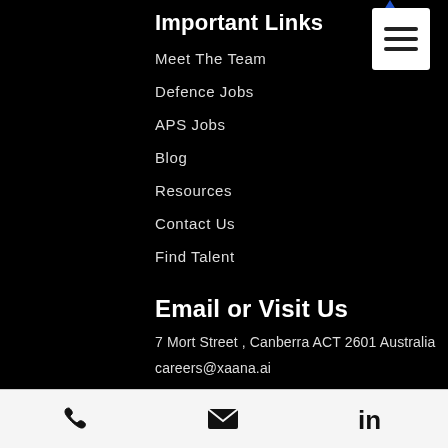Important Links
Meet The Team
Defence Jobs
APS Jobs
Blog
Resources
Contact Us
Find Talent
Email or Visit Us
7 Mort Street , Canberra ACT 2601 Australia
careers@xaana.ai
Call Us
+61 (2) 6201 8900
Mon - Fri: 9:00 - 17:00
Phone | Email | LinkedIn